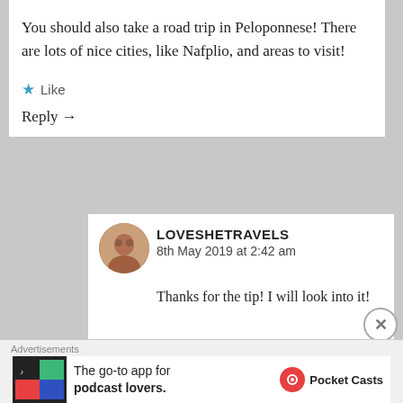You should also take a road trip in Peloponnese! There are lots of nice cities, like Nafplio, and areas to visit!
★ Like
Reply →
LOVESHETRAVELS
8th May 2019 at 2:42 am
Thanks for the tip! I will look into it!
★ Like
Advertisements
The go-to app for podcast lovers. Pocket Casts